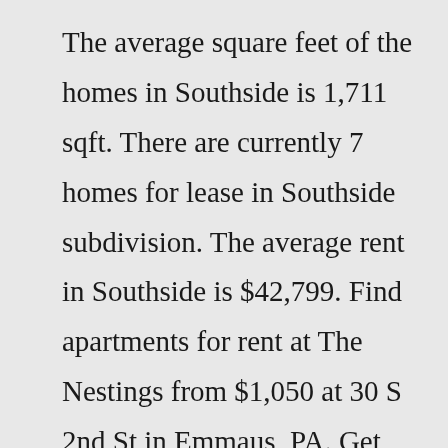The average square feet of the homes in Southside is 1,711 sqft. There are currently 7 homes for lease in Southside subdivision. The average rent in Southside is $42,799. Find apartments for rent at The Nestings from $1,050 at 30 S 2nd St in Emmaus, PA. Get the best value for your money with Apartment Finder. ... Homes for Rent Philadelphia Homes for Rent; Cheltenham Homes for Rent; Villanova Homes for Rent